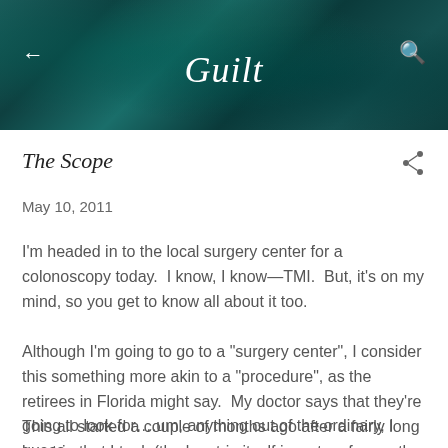[Figure (photo): Dark teal/green textured background banner with the blog title 'Guilt' in white italic script font, back arrow icon on left, search icon on right]
The Scope
May 10, 2011
I'm headed in to the local surgery center for a colonoscopy today.  I know, I know—TMI.  But, it's on my mind, so you get to know all about it too.
Although I'm going to go to a "surgery center", I consider this something more akin to a "procedure", as the retirees in Florida might say.  My doctor says that they're going to look for….um, anything out of the ordinary, I guess.
This all started a couple of months ago after a fairly long bus trip that I took (the bus trip itself is a story for another time),